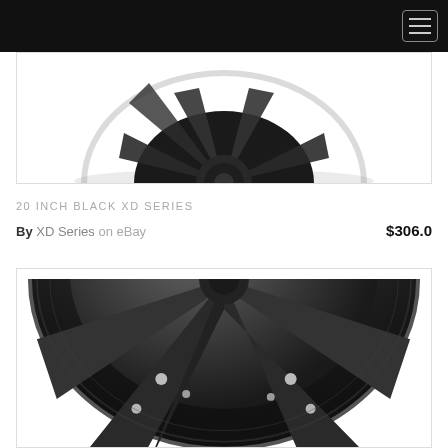[Figure (photo): Top portion of a black XD Series wheel/rim, showing the dark matte finish, spoke design, and center cap against white background]
20 INCH BLACK XD SERIES
By XD Series on eBay   $306.0
[Figure (photo): Close-up of a black matte XD Series wheel showing spokes with bolt details and aggressive styling]